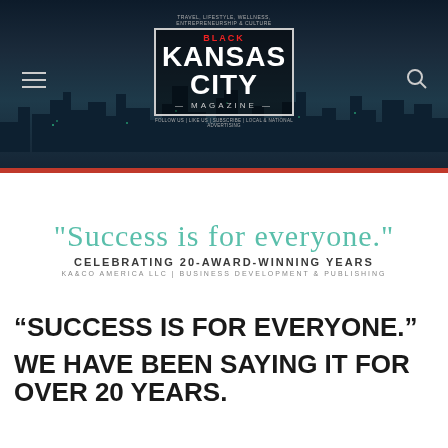[Figure (screenshot): Black Kansas City Magazine website header with dark city skyline background, hamburger menu icon on left, search icon on right, and centered magazine logo with border]
[Figure (illustration): Script text reading 'Success is for everyone' in teal cursive with celebration tagline below: CELEBRATING 20-AWARD-WINNING YEARS, KA&CO AMERICA LLC | BUSINESS DEVELOPMENT & PUBLISHING]
“SUCCESS IS FOR EVERYONE.”
WE HAVE BEEN SAYING IT FOR OVER 20 YEARS.